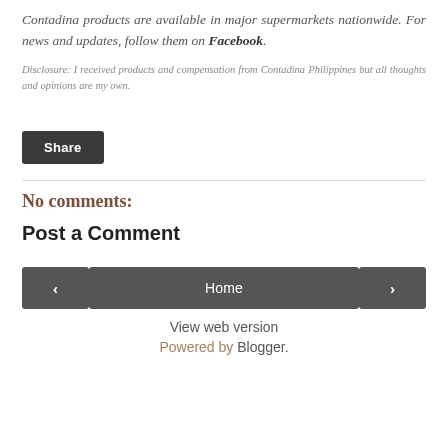Contadina products are available in major supermarkets nationwide. For news and updates, follow them on Facebook.
Disclosure: I received products and compensation from Contadina Philippines but all thoughts and opinions are my own.
Share
No comments:
Post a Comment
‹
Home
›
View web version
Powered by Blogger.